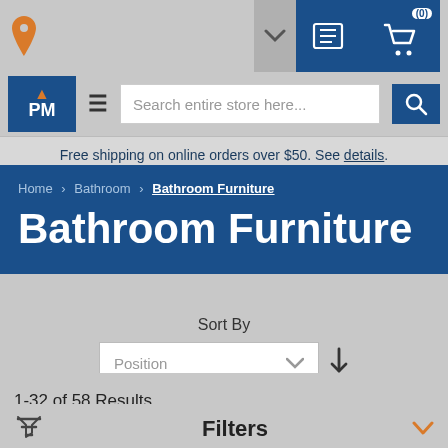Navigation header with location, search, logo, and cart
Free shipping on online orders over $50. See details.
Home > Bathroom > Bathroom Furniture
Bathroom Furniture
Sort By Position
1-32 of 58 Results
Filters